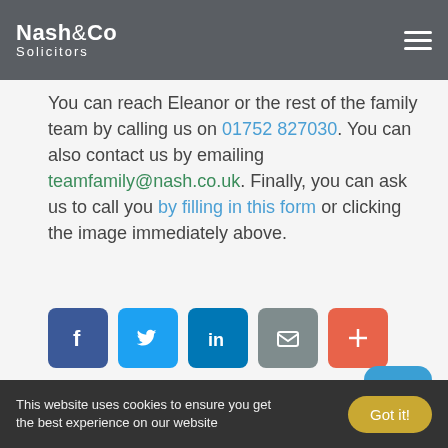Nash & Co Solicitors
You can reach Eleanor or the rest of the family team by calling us on 01752 827030. You can also contact us by emailing teamfamily@nash.co.uk. Finally, you can ask us to call you by filling in this form or clicking the image immediately above.
[Figure (infographic): Social sharing buttons: Facebook (dark blue), Twitter (light blue), LinkedIn (blue), Email (grey), More/Plus (orange-red)]
[Figure (infographic): Navigation arrows: left arrow (grey circle) and right arrow (grey circle)]
Archives
This website uses cookies to ensure you get the best experience on our website
Got it!